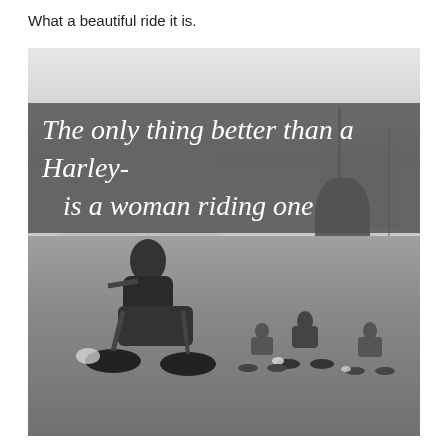What a beautiful ride it is.
[Figure (photo): Black and white photo of a group of motorcyclists riding on a road, with a building and utility poles in the background. A banner overlay on the image reads: 'The only thing better than a Harley- is a woman riding one' in white cursive/handwritten text on a dark semi-transparent background.]